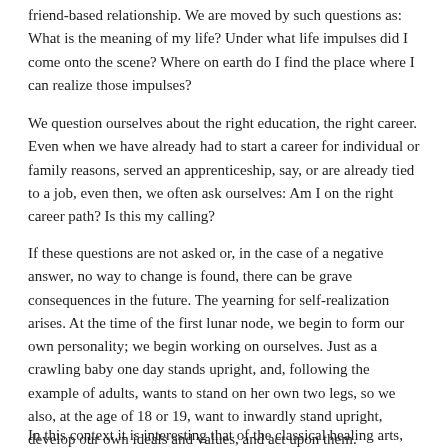friend-based relationship. We are moved by such questions as: What is the meaning of my life? Under what life impulses did I come onto the scene? Where on earth do I find the place where I can realize those impulses?
We question ourselves about the right education, the right career. Even when we have already had to start a career for individual or family reasons, served an apprenticeship, say, or are already tied to a job, even then, we often ask ourselves: Am I on the right career path? Is this my calling?
If these questions are not asked or, in the case of a negative answer, no way to change is found, there can be grave consequences in the future. The yearning for self-realization arises. At the time of the first lunar node, we begin to form our own personality; we begin working on ourselves. Just as a crawling baby one day stands upright, and, following the example of adults, wants to stand on her own two legs, so we also, at the age of 18 or 19, want to inwardly stand upright, develop our own ideals and values, and act upon them.
In this context it is interesting that of the classical healing arts, astro di